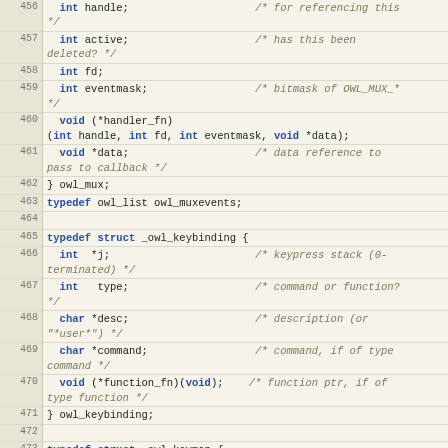[Figure (screenshot): Source code listing showing C struct and typedef definitions for owl_mux, owl_keybinding, and owl_keymap types, with line numbers 456-478]